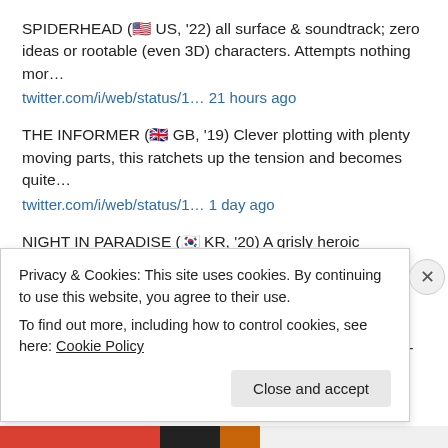SPIDERHEAD (🇺🇸 US, '22) all surface & soundtrack; zero ideas or rootable (even 3D) characters. Attempts nothing mor…
twitter.com/i/web/status/1… 21 hours ago
THE INFORMER (🇬🇧 GB, '19) Clever plotting with plenty moving parts, this ratchets up the tension and becomes quite…
twitter.com/i/web/status/1… 1 day ago
NIGHT IN PARADISE (🇰🇷 KR, '20) A grisly heroic bloodshed bloodbath. Everything about this is downbeat; from the nih…
twitter.com/i/web/status/1… 2 days ago
RRR (🇮🇳 IN, '22) some absolutely wild & ridiculous bone-crunching
Privacy & Cookies: This site uses cookies. By continuing to use this website, you agree to their use.
To find out more, including how to control cookies, see here: Cookie Policy
Close and accept